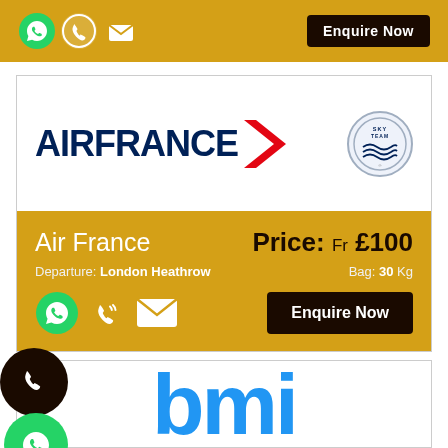[Figure (infographic): Top golden bar with contact icons (WhatsApp, phone, email) and Enquire Now button]
[Figure (logo): Air France logo with wordmark, red chevron, and SkyTeam badge]
Air France
Price: Fr £100
Departure: London Heathrow
Bag: 30 Kg
[Figure (infographic): Contact icons (WhatsApp, phone, email) and Enquire Now button on golden background]
[Figure (logo): BMI logo in blue lowercase letters, partially visible]